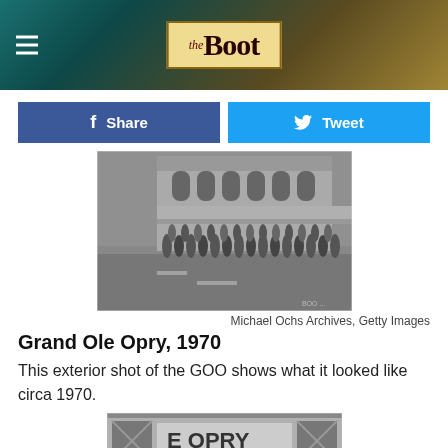the Boot
[Figure (other): Facebook Share button and Twitter Tweet button]
[Figure (photo): Black and white exterior shot of the Grand Ole Opry circa 1970, showing a crowd of people lined up outside a brick building on a city street.]
Michael Ochs Archives, Getty Images
Grand Ole Opry, 1970
This exterior shot of the GOO shows what it looked like circa 1970.
[Figure (photo): Partial black and white photo showing a close-up of the Grand Ole Opry sign, partially visible at the bottom of the page.]